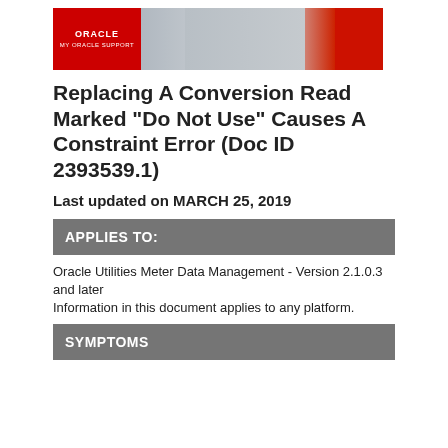[Figure (logo): Oracle My Oracle Support banner with red Oracle logo on left, photo of woman in data center in middle, red block on right]
Replacing A Conversion Read Marked "Do Not Use" Causes A Constraint Error (Doc ID 2393539.1)
Last updated on MARCH 25, 2019
APPLIES TO:
Oracle Utilities Meter Data Management - Version 2.1.0.3 and later
Information in this document applies to any platform.
SYMPTOMS